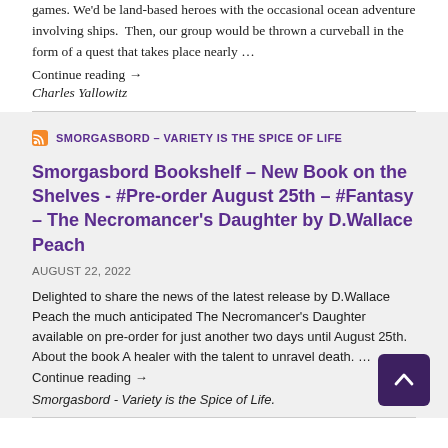games. We'd be land-based heroes with the occasional ocean adventure involving ships. Then, our group would be thrown a curveball in the form of a quest that takes place nearly ...
Continue reading →
Charles Yallowitz
SMORGASBORD – VARIETY IS THE SPICE OF LIFE
Smorgasbord Bookshelf – New Book on the Shelves - #Pre-order August 25th – #Fantasy – The Necromancer's Daughter by D.Wallace Peach
AUGUST 22, 2022
Delighted to share the news of the latest release by D.Wallace Peach the much anticipated The Necromancer's Daughter available on pre-order for just another two days until August 25th. About the book A healer with the talent to unravel death. ... Continue reading →
Smorgasbord - Variety is the Spice of Life.